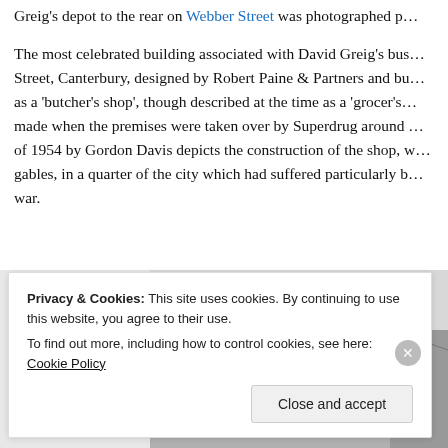Greig’s depot to the rear on Webber Street was photographed p…
The most celebrated building associated with David Greig’s bus… Street, Canterbury, designed by Robert Paine & Partners and bu… as a ‘butcher’s shop’, though described at the time as a ‘grocer’s… made when the premises were taken over by Superdrug around … of 1954 by Gordon Davis depicts the construction of the shop, w… gables, in a quarter of the city which had suffered particularly b… war.
[Figure (photo): Black and white photograph showing the construction of a building with distinctive architectural features including geometric roof lines and gables.]
Privacy & Cookies: This site uses cookies. By continuing to use this website, you agree to their use.
To find out more, including how to control cookies, see here: Cookie Policy
Close and accept